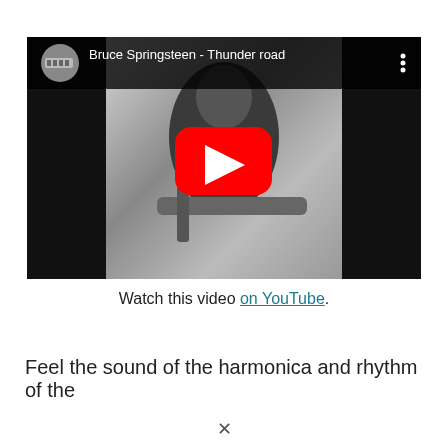[Figure (screenshot): Embedded YouTube video thumbnail showing Bruce Springsteen playing guitar in black and white, with YouTube play button overlay and title 'Bruce Springsteen - Thunder road']
Watch this video on YouTube.
Feel the sound of the harmonica and rhythm of the